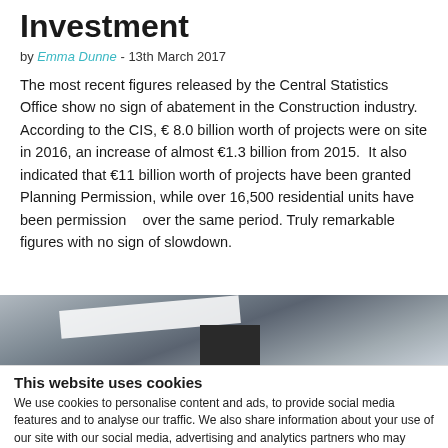Investment
by Emma Dunne - 13th March 2017
The most recent figures released by the Central Statistics Office show no sign of abatement in the Construction industry. According to the CIS, € 8.0 billion worth of projects were on site in 2016, an increase of almost €1.3 billion from 2015.  It also indicated that €11 billion worth of projects have been granted Planning Permission, while over 16,500 residential units have been permission   over the same period. Truly remarkable figures with no sign of slowdown.
[Figure (photo): Partial photo of a construction or building interior scene, partially visible at bottom of article]
This website uses cookies
We use cookies to personalise content and ads, to provide social media features and to analyse our traffic. We also share information about your use of our site with our social media, advertising and analytics partners who may combine it with other information that you've provided to them or that they've collected from your use of their services.